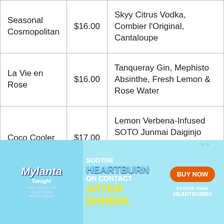| Item | Price | Ingredients |
| --- | --- | --- |
| Seasonal Cosmopolitan | $16.00 | Skyy Citrus Vodka, Combier l'Original, Cantaloupe |
| La Vie en Rose | $16.00 | Tanqueray Gin, Mephisto Absinthe, Fresh Lemon & Rose Water |
| Coco Cooler | $17.00 | Lemon Verbena-Infused SOTO Junmai Daiginjo Sake, Galangal, Coconut Milk… |
[Figure (infographic): Mylanta advertisement banner: 'SOOTHE HEARTBURN ON CONTACT AFTER DINNER.' with BUY NOW button and 'FASTER THAN HEARTBURN' tagline]